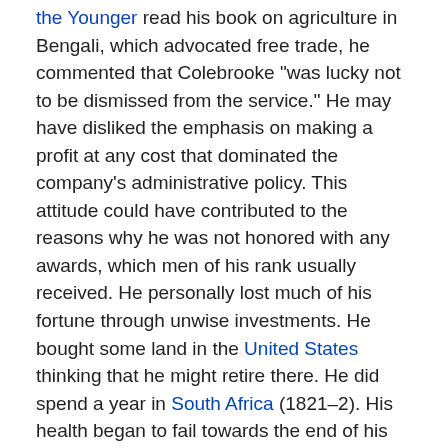the Younger read his book on agriculture in Bengali, which advocated free trade, he commented that Colebrooke "was lucky not to be dismissed from the service." He may have disliked the emphasis on making a profit at any cost that dominated the company's administrative policy. This attitude could have contributed to the reasons why he was not honored with any awards, which men of his rank usually received. He personally lost much of his fortune through unwise investments. He bought some land in the United States thinking that he might retire there. He did spend a year in South Africa (1821–2). His health began to fail towards the end of his life and from 1829 he was blind. As well as losing two of his three sons, two nieces died which saddened him and contributed to his ill health. Towards the end he was completely bed-ridden. Gombrich says that he felt "unjustly treated" because honors did not come his way.[2]
Marriage